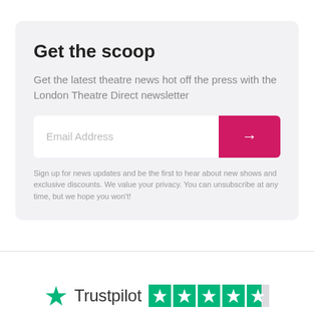Get the scoop
Get the latest theatre news hot off the press with the London Theatre Direct newsletter
[Figure (other): Email address input field with pink submit arrow button]
Sign up for news updates and be the first to hear about new shows and exclusive discounts. We value your privacy. You can unsubscribe at any time, but we hope you won't!
[Figure (logo): Trustpilot logo with green star and four-and-a-half green star rating boxes]